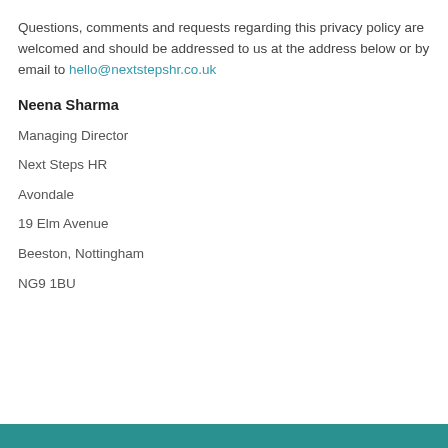Questions, comments and requests regarding this privacy policy are welcomed and should be addressed to us at the address below or by email to hello@nextstepshr.co.uk
Neena Sharma
Managing Director
Next Steps HR
Avondale
19 Elm Avenue
Beeston, Nottingham
NG9 1BU